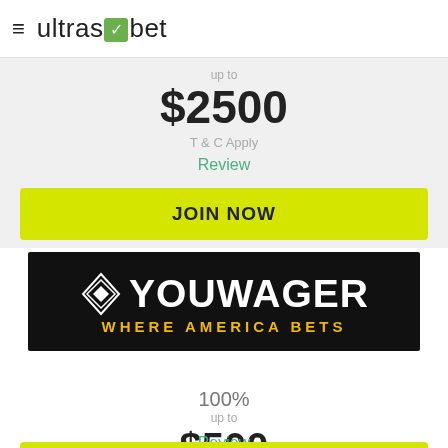ultrasbet
up to
$2500
T & C Apply
Review
JOIN NOW
[Figure (logo): YouWager logo - black background with diamond emblem, white text YOUWAGER and yellow tagline WHERE AMERICA BETS]
100%
up to
$500
T & C Apply
Review
JOIN NOW